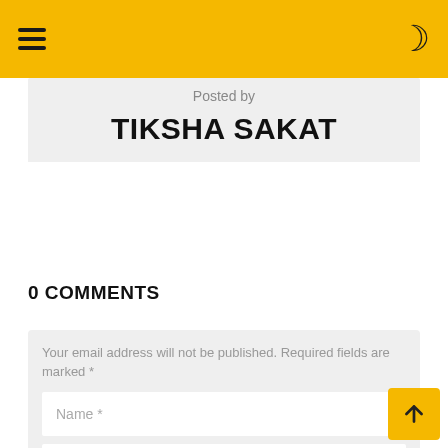Navigation bar with hamburger menu and dark mode toggle
Posted by
TIKSHA SAKAT
0 COMMENTS
Your email address will not be published. Required fields are marked *
Name *
Email *
Save my name, email, and website in this